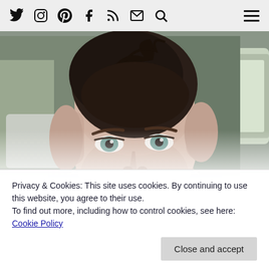[Figure (screenshot): Website navigation bar with social media icons: Twitter, Instagram, Pinterest, Facebook, RSS, Email, Search on the left, and a hamburger menu icon on the right. Light gray background.]
[Figure (photo): Close-up profile photo of a person with short dark pixie undercut hair and blue-green eyes, photographed inside a car. The photo is displayed in a large arch/semicircle shape cropped at the top.]
Privacy & Cookies: This site uses cookies. By continuing to use this website, you agree to their use.
To find out more, including how to control cookies, see here: Cookie Policy
Close and accept